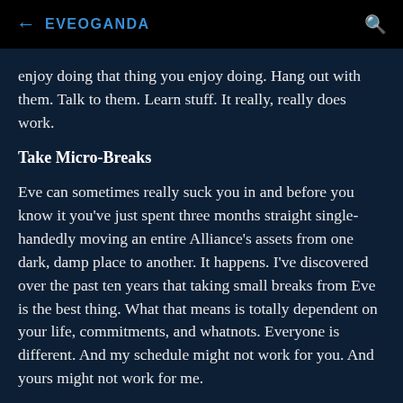← EVEOGANDA 🔍
enjoy doing that thing you enjoy doing. Hang out with them. Talk to them. Learn stuff. It really, really does work.
Take Micro-Breaks
Eve can sometimes really suck you in and before you know it you've just spent three months straight single-handedly moving an entire Alliance's assets from one dark, damp place to another. It happens. I've discovered over the past ten years that taking small breaks from Eve is the best thing. What that means is totally dependent on your life, commitments, and whatnots. Everyone is different. And my schedule might not work for you. And yours might not work for me.